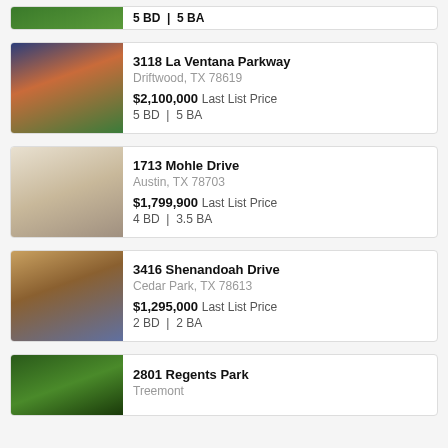Partial card at top - 5 BD | 5 BA or similar
3118 La Ventana Parkway, Driftwood, TX 78619, $2,100,000 Last List Price, 5 BD | 5 BA
1713 Mohle Drive, Austin, TX 78703, $1,799,900 Last List Price, 4 BD | 3.5 BA
3416 Shenandoah Drive, Cedar Park, TX 78613, $1,295,000 Last List Price, 2 BD | 2 BA
2801 Regents Park, Treemont